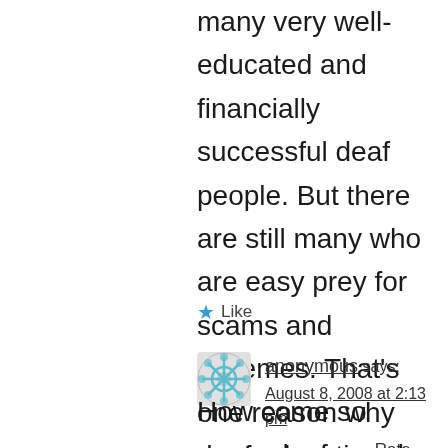many very well-educated and financially successful deaf people. But there are still many who are easy prey for scams and schemes. That's one reason why deaf education really needs to improve in our country. I don't have all the answers, so I welcome responses from other people, especially deaf people.
Like
anonymous says: August 8, 2008 at 2:13 pm 0 0 Rate This
How come so many deaf people are involved with CDT?